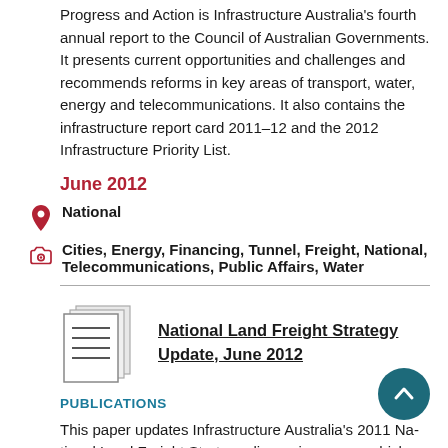Progress and Action is Infrastructure Australia's fourth annual report to the Council of Australian Governments. It presents current opportunities and challenges and recommends reforms in key areas of transport, water, energy and telecommunications. It also contains the infrastructure report card 2011–12 and the 2012 Infrastructure Priority List.
June 2012
National
Cities, Energy, Financing, Tunnel, Freight, National, Telecommunications, Public Affairs, Water
National Land Freight Strategy Update, June 2012
PUBLICATIONS
This paper updates Infrastructure Australia's 2011 National Land Freight Strategy discussion paper, which proposed the establishment of a national land freight strategy — a partnership between the Commonwealth, state, territory and local governments and industry to achieve efficient and